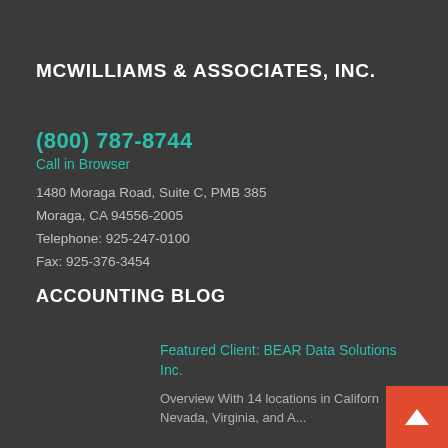MCWILLIAMS & ASSOCIATES, INC.
(800) 787-8744
Call in Browser
1480 Moraga Road, Suite C, PMB 385
Moraga, CA 94556-2005
Telephone: 925-247-0100
Fax: 925-376-3454
ACCOUNTING BLOG
Featured Client: BEAR Data Solutions Inc.
Overview With 14 locations in California, Nevada, Virginia, and A...